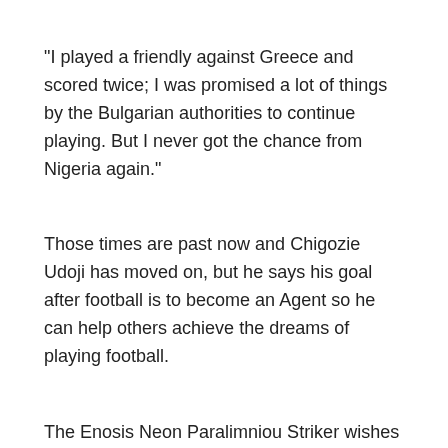“I played a friendly against Greece and scored twice; I was promised a lot of things by the Bulgarian authorities to continue playing. But I never got the chance from Nigeria again.”
Those times are past now and Chigozie Udoji has moved on, but he says his goal after football is to become an Agent so he can help others achieve the dreams of playing football.
The Enosis Neon Paralimniou Striker wishes more quality players will emerge from Ajegunle, who will get the chance to reach Europe.